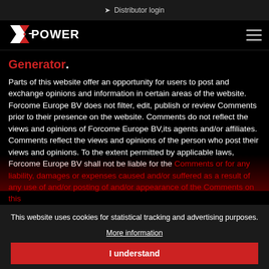Distributor login
[Figure (logo): X-POWER logo in white and red on black background]
Generator.
Parts of this website offer an opportunity for users to post and exchange opinions and information in certain areas of the website. Forcome Europe BV does not filter, edit, publish or review Comments prior to their presence on the website. Comments do not reflect the views and opinions of Forcome Europe BV,its agents and/or affiliates. Comments reflect the views and opinions of the person who post their views and opinions. To the extent permitted by applicable laws, Forcome Europe BV shall not be liable for the Comments or for any liability, damages or expenses caused and/or suffered as a result of any use of and/or posting of and/or appearance of the Comments on this
This website uses cookies for statistical tracking and advertising purposes.
More information
I understand